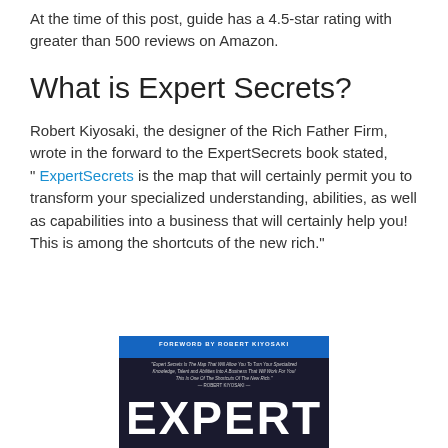At the time of this post, guide has a 4.5-star rating with greater than 500 reviews on Amazon.
What is Expert Secrets?
Robert Kiyosaki, the designer of the Rich Father Firm, wrote in the forward to the ExpertSecrets book stated,
" ExpertSecrets is the map that will certainly permit you to transform your specialized understanding, abilities, as well as capabilities into a business that will certainly help you! This is among the shortcuts of the new rich."
[Figure (photo): Book cover of Expert Secrets with foreword by Robert Kiyosaki, showing dark cover with 'EXPERT' text visible]